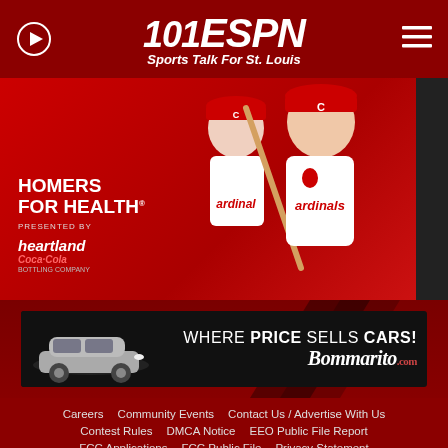101 ESPN Sports Talk For St. Louis
[Figure (photo): Cardinals baseball promotion photo: two players in Cardinals uniforms (adult and child) holding a bat, with 'Homers For Health presented by Heartland Coca-Cola' text overlay on red background]
[Figure (photo): Bommarito car dealership advertisement: silver SUV with text 'WHERE PRICE SELLS CARS! Bommarito.com' on dark background]
Careers   Community Events   Contact Us / Advertise With Us   Contest Rules   DMCA Notice   EEO Public File Report   FCC Applications   FCC Public File   Privacy Statement   Prize Pickup   Talk of the Town   Terms of Use